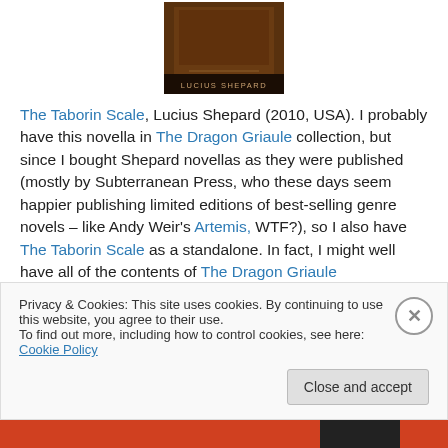[Figure (photo): Book cover image for a Lucius Shepard novella, dark reddish-brown tones with 'LUCIUS SHEPARD' text visible at the bottom]
The Taborin Scale, Lucius Shepard (2010, USA). I probably have this novella in The Dragon Griaule collection, but since I bought Shepard novellas as they were published (mostly by Subterranean Press, who these days seem happier publishing limited editions of best-selling genre novels – like Andy Weir's Artemis, WTF?), so I also have The Taborin Scale as a standalone. In fact, I might well have all of the contents of The Dragon Griaule
Privacy & Cookies: This site uses cookies. By continuing to use this website, you agree to their use.
To find out more, including how to control cookies, see here: Cookie Policy